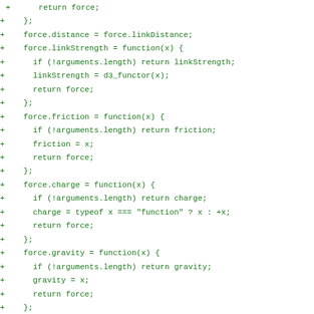code diff showing force layout methods in JavaScript/D3.js